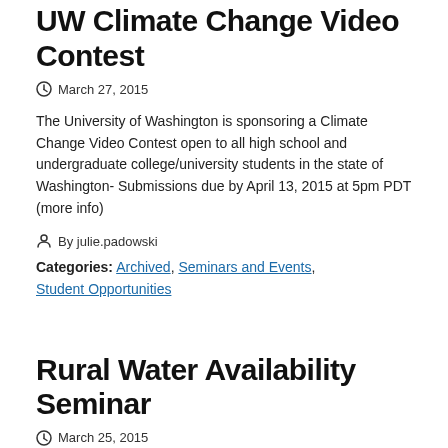UW Climate Change Video Contest
March 27, 2015
The University of Washington is sponsoring a Climate Change Video Contest open to all high school and undergraduate college/university students in the state of Washington- Submissions due by April 13, 2015 at 5pm PDT (more info)
By julie.padowski
Categories: Archived, Seminars and Events, Student Opportunities
Rural Water Availability Seminar
March 25, 2015